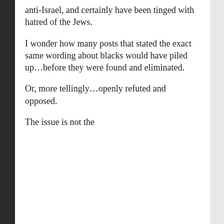anti-Israel, and certainly have been tinged with hatred of the Jews.
I wonder how many posts that stated the exact same wording about blacks would have piled up…before they were found and eliminated.
Or, more tellingly…openly refuted and opposed.
The issue is not the